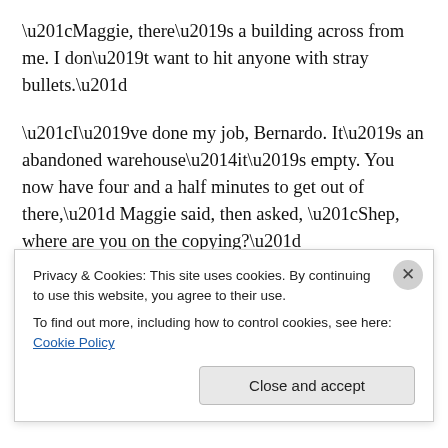“Maggie, there’s a building across from me. I don’t want to hit anyone with stray bullets.”
“I’ve done my job, Bernardo. It’s an abandoned warehouse—it’s empty. You now have four and a half minutes to get out of there,” Maggie said, then asked, “Shep, where are you on the copying?”
“I’m at ninety percent, almost there.” Maggie could hear the pinging of Bernardo’s gun taking out the window.
“Starting our exit,” Bernardo said in a professional tone
Privacy & Cookies: This site uses cookies. By continuing to use this website, you agree to their use.
To find out more, including how to control cookies, see here: Cookie Policy
Close and accept